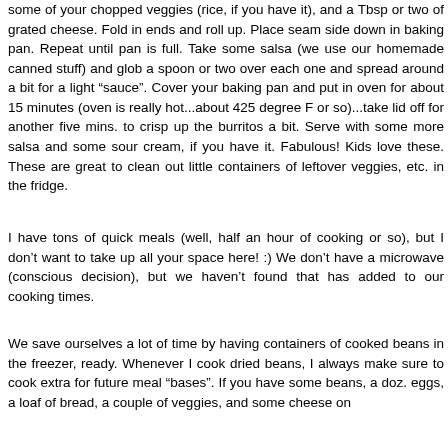some of your chopped veggies (rice, if you have it), and a Tbsp or two of grated cheese. Fold in ends and roll up. Place seam side down in baking pan. Repeat until pan is full. Take some salsa (we use our homemade canned stuff) and glob a spoon or two over each one and spread around a bit for a light "sauce". Cover your baking pan and put in oven for about 15 minutes (oven is really hot...about 425 degree F or so)...take lid off for another five mins. to crisp up the burritos a bit. Serve with some more salsa and some sour cream, if you have it. Fabulous! Kids love these. These are great to clean out little containers of leftover veggies, etc. in the fridge.
I have tons of quick meals (well, half an hour of cooking or so), but I don't want to take up all your space here! :) We don't have a microwave (conscious decision), but we haven't found that has added to our cooking times.
We save ourselves a lot of time by having containers of cooked beans in the freezer, ready. Whenever I cook dried beans, I always make sure to cook extra for future meal "bases". If you have some beans, a doz. eggs, a loaf of bread, a couple of veggies, and some cheese on